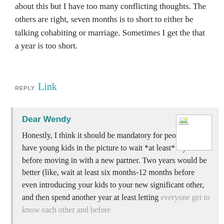about this but I have too many conflicting thoughts. The others are right, seven months is to short to either be talking cohabiting or marriage. Sometimes I get the that a year is too short.
REPLY Link
Dear Wendy
Honestly, I think it should be mandatory for people who have young kids in the picture to wait *at least* a year before moving in with a new partner. Two years would be better (like, wait at least six months-12 months before even introducing your kids to your new significant other, and then spend another year at least letting everyone get to know each other and before testing out cohabiting).